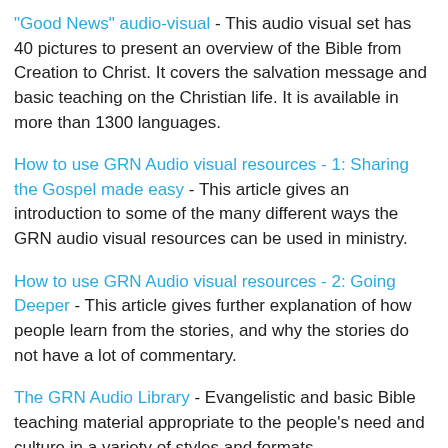"Good News" audio-visual - This audio visual set has 40 pictures to present an overview of the Bible from Creation to Christ. It covers the salvation message and basic teaching on the Christian life. It is available in more than 1300 languages.
How to use GRN Audio visual resources - 1: Sharing the Gospel made easy - This article gives an introduction to some of the many different ways the GRN audio visual resources can be used in ministry.
How to use GRN Audio visual resources - 2: Going Deeper - This article gives further explanation of how people learn from the stories, and why the stories do not have a lot of commentary.
The GRN Audio Library - Evangelistic and basic Bible teaching material appropriate to the people's need and culture in a variety of styles and formats.